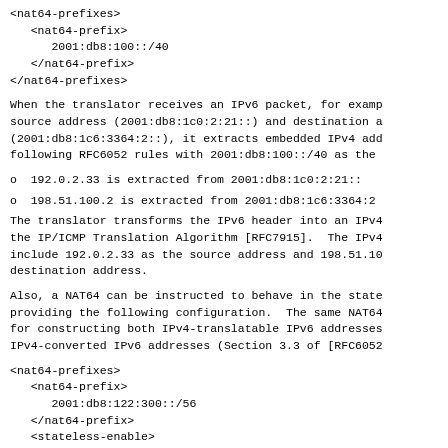<nat64-prefixes>
   <nat64-prefix>
      2001:db8:100::/40
   </nat64-prefix>
</nat64-prefixes>
When the translator receives an IPv6 packet, for examp
source address (2001:db8:1c0:2:21::) and destination a
(2001:db8:1c6:3364:2::), it extracts embedded IPv4 add
following RFC6052 rules with 2001:db8:100::/40 as the
o  192.0.2.33 is extracted from 2001:db8:1c0:2:21::
o  198.51.100.2 is extracted from 2001:db8:1c6:3364:2
The translator transforms the IPv6 header into an IPv4
the IP/ICMP Translation Algorithm [RFC7915].  The IPv4
include 192.0.2.33 as the source address and 198.51.10
destination address.
Also, a NAT64 can be instructed to behave in the state
providing the following configuration.  The same NAT64
for constructing both IPv4-translatable IPv6 addresses
IPv4-converted IPv6 addresses (Section 3.3 of [RFC6052
<nat64-prefixes>
   <nat64-prefix>
      2001:db8:122:300::/56
   </nat64-prefix>
   <stateless-enable>